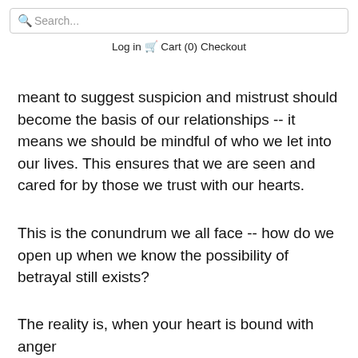Search... Log in Cart (0) Checkout
meant to suggest suspicion and mistrust should become the basis of our relationships -- it means we should be mindful of who we let into our lives. This ensures that we are seen and cared for by those we trust with our hearts.
This is the conundrum we all face -- how do we open up when we know the possibility of betrayal still exists?
The reality is, when your heart is bound with anger